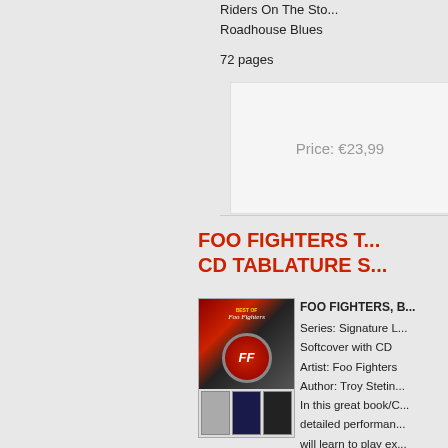Riders On The Sto...
Roadhouse Blues
72 pages
Price: €23,99
FOO FIGHTERS T... CD TABLATURE S...
[Figure (photo): Cover of Best of Foo Fighters tablature book with CD, showing the Foo Fighters FF logo on red circle and album artwork thumbnails]
FOO FIGHTERS, B...
Series: Signature L...
Softcover with CD
Artist: Foo Fighters
Author: Troy Stetin...
In this great book/C...
detailed performan...
will learn to play ex...